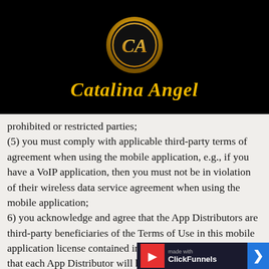[Figure (logo): Catalina Angel logo: golden oval with CA monogram on black background, with 'Catalina Angel' in gold italic text below]
prohibited or restricted parties;
(5) you must comply with applicable third-party terms of agreement when using the mobile application, e.g., if you have a VoIP application, then you must not be in violation of their wireless data service agreement when using the mobile application;
6) you acknowledge and agree that the App Distributors are third-party beneficiaries of the Terms of Use in this mobile application license contained in these Terms of Use, and that each App Distributor will have the right (and will be deemed to have accepted the right) to enforce the Terms of Use i...